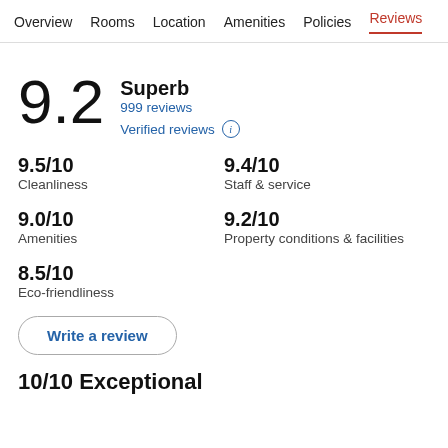Overview  Rooms  Location  Amenities  Policies  Reviews
9.2
Superb
999 reviews
Verified reviews
9.5/10
Cleanliness
9.4/10
Staff & service
9.0/10
Amenities
9.2/10
Property conditions & facilities
8.5/10
Eco-friendliness
Write a review
10/10 Exceptional